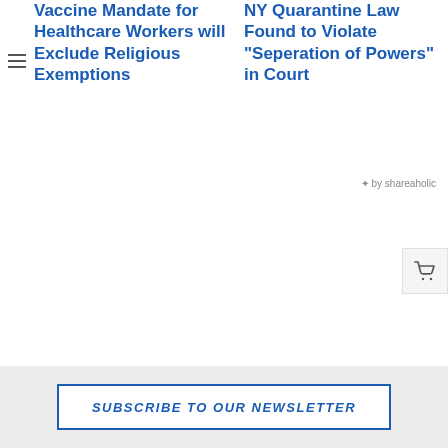Vaccine Mandate for Healthcare Workers will Exclude Religious Exemptions
NY Quarantine Law Found to Violate "Seperation of Powers" in Court
by shareaholic
Previous Post: Departments of Health Are Not Law Makers (Yes, it’s a problem!)
Next Post: New York Declares {First Ever} State of Emergency Over Gun Violence
SUBSCRIBE TO OUR NEWSLETTER